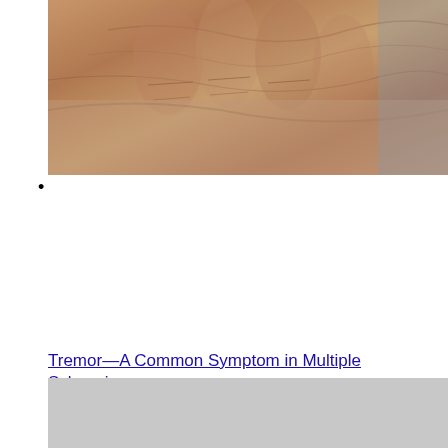[Figure (photo): Close-up photograph of elderly wrinkled hands, showing aged skin texture in warm brown tones]
•
Tremor—A Common Symptom in Multiple Sclerosis
[Figure (photo): Partially visible gray/light colored image at bottom of page]